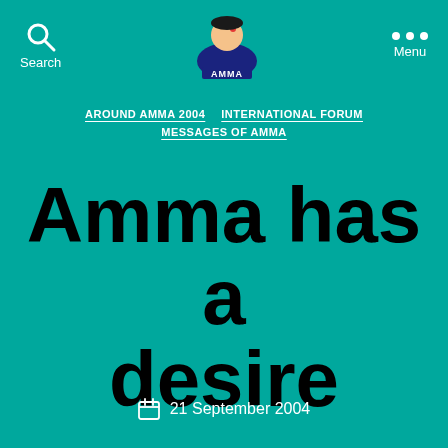Search | AMMA logo | Menu
AROUND AMMA 2004  INTERNATIONAL FORUM  MESSAGES OF AMMA
Amma has a desire
21 September 2004